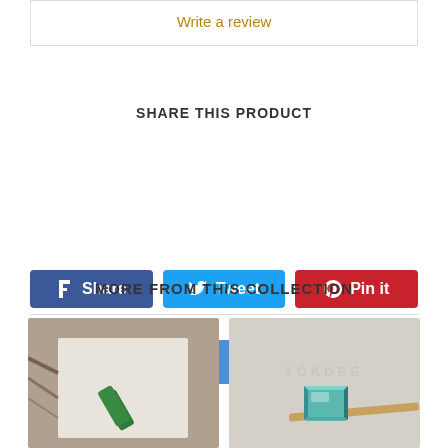Write a review
SHARE THIS PRODUCT
[Figure (screenshot): Social sharing buttons: Facebook Share, Twitter Tweet, Pinterest Pin it, Fancy, Google +1]
MORE FROM THIS COLLECTION
[Figure (photo): Close-up photo of a small green gemstone cylinder on a cream card stock background with wood]
[Figure (photo): Photo of a teal/green faceted gemstone on a light grey surface with YOKDEE watermark]